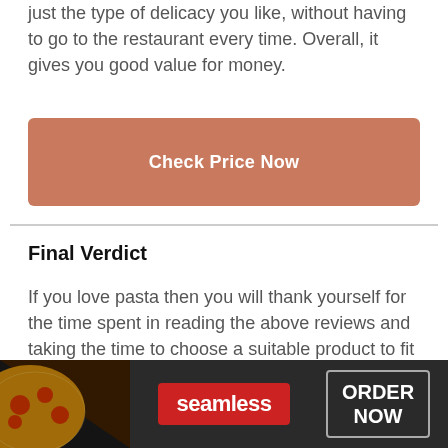just the type of delicacy you like, without having to go to the restaurant every time. Overall, it gives you good value for money.
Check Price Now
Final Verdict
If you love pasta then you will thank yourself for the time spent in reading the above reviews and taking the time to choose a suitable product to fit your KitchenAid mixer. While the ease of making different types of pasta at home is definitely worth the
[Figure (screenshot): Advertisement banner for Seamless food delivery service showing pizza image on left, Seamless red logo badge in center, and ORDER NOW button on right with dark background]